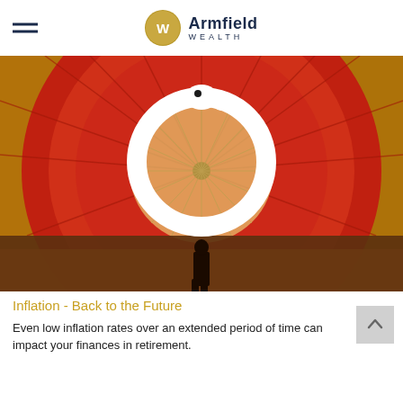Armfield Wealth
[Figure (photo): A person silhouetted inside a large inflated hot air balloon, viewed from inside showing the red and orange fabric panels radiating outward in circular patterns. A white circular snake (ouroboros) logo is overlaid on the image.]
Inflation - Back to the Future
Even low inflation rates over an extended period of time can impact your finances in retirement.